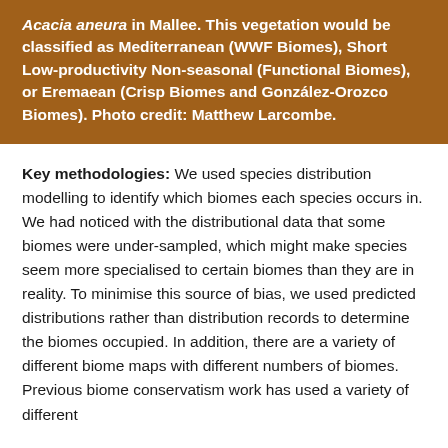Acacia aneura in Mallee. This vegetation would be classified as Mediterranean (WWF Biomes), Short Low-productivity Non-seasonal (Functional Biomes), or Eremaean (Crisp Biomes and González-Orozco Biomes). Photo credit: Matthew Larcombe.
Key methodologies: We used species distribution modelling to identify which biomes each species occurs in. We had noticed with the distributional data that some biomes were under-sampled, which might make species seem more specialised to certain biomes than they are in reality. To minimise this source of bias, we used predicted distributions rather than distribution records to determine the biomes occupied. In addition, there are a variety of different biome maps with different numbers of biomes. Previous biome conservatism work has used a variety of different